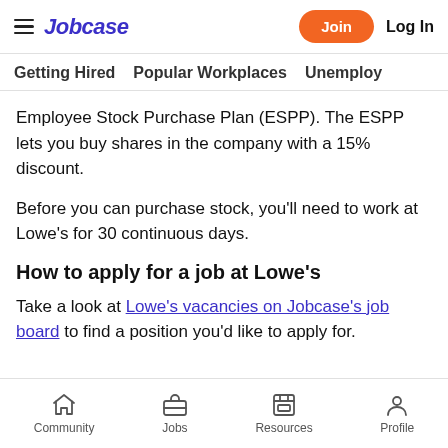Jobcase — Join | Log In
Getting Hired | Popular Workplaces | Unemploy…
Employee Stock Purchase Plan (ESPP). The ESPP lets you buy shares in the company with a 15% discount.
Before you can purchase stock, you'll need to work at Lowe's for 30 continuous days.
How to apply for a job at Lowe's
Take a look at Lowe's vacancies on Jobcase's job board to find a position you'd like to apply for.
Community | Jobs | Resources | Profile